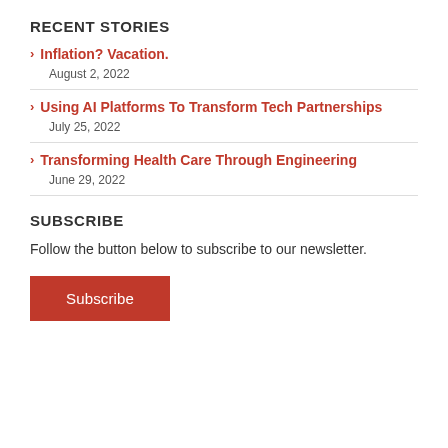RECENT STORIES
Inflation? Vacation. — August 2, 2022
Using AI Platforms To Transform Tech Partnerships — July 25, 2022
Transforming Health Care Through Engineering — June 29, 2022
SUBSCRIBE
Follow the button below to subscribe to our newsletter.
Subscribe